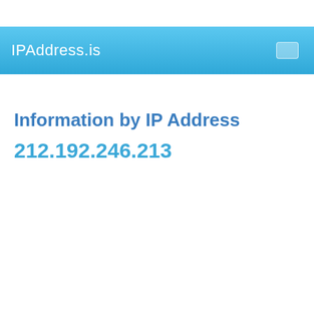IPAddress.is
Information by IP Address
212.192.246.213